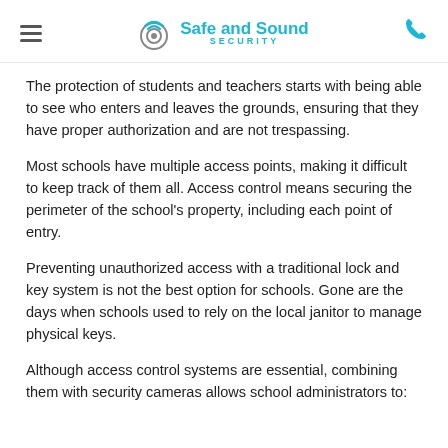Safe and Sound Security
The protection of students and teachers starts with being able to see who enters and leaves the grounds, ensuring that they have proper authorization and are not trespassing.
Most schools have multiple access points, making it difficult to keep track of them all. Access control means securing the perimeter of the school's property, including each point of entry.
Preventing unauthorized access with a traditional lock and key system is not the best option for schools. Gone are the days when schools used to rely on the local janitor to manage physical keys.
Although access control systems are essential, combining them with security cameras allows school administrators to: